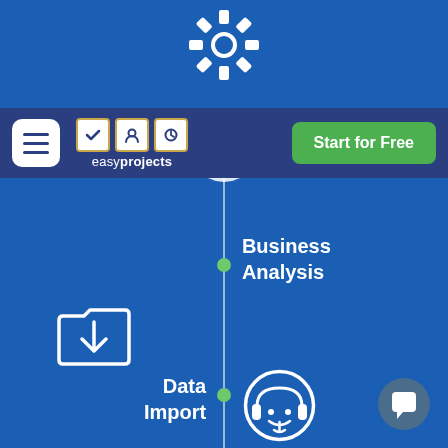[Figure (screenshot): EasyProjects website screenshot showing a navigation bar with hamburger menu, EasyProjects logo, and Start for Free button. Below is a blue background with a vertical timeline showing Business Analysis, Data Import, and Personalized Training steps with icons.]
Start for Free
Business Analysis
Data Import
Personalized Training